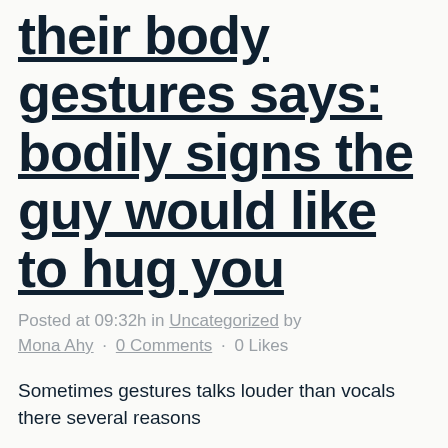their body gestures says: bodily signs the guy would like to hug you
Posted at 09:32h in Uncategorized by Mona Ahy · 0 Comments · 0 Likes
Sometimes gestures talks louder than vocals there several reasons